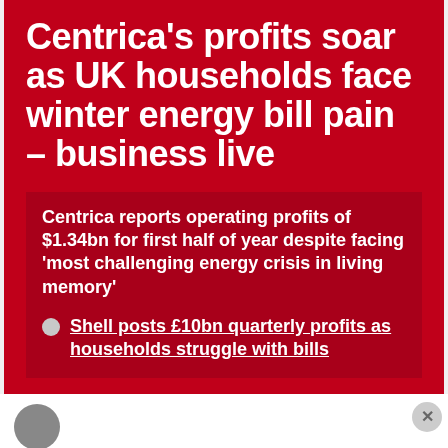Centrica's profits soar as UK households face winter energy bill pain – business live
Centrica reports operating profits of $1.34bn for first half of year despite facing 'most challenging energy crisis in living memory'
Shell posts £10bn quarterly profits as households struggle with bills
[Figure (photo): Circular avatar/profile image, partially visible]
Advertisements
[Figure (screenshot): DuckDuckGo advertisement banner: Search, browse, and email with more privacy. All in One Free App - DuckDuckGo]